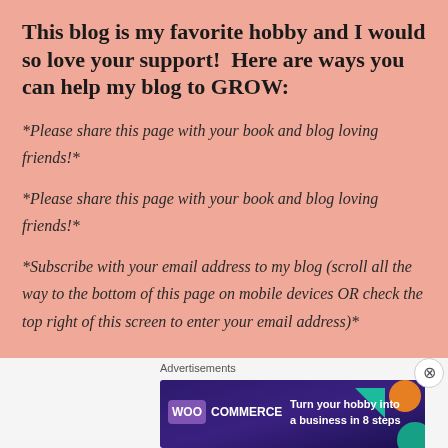This blog is my favorite hobby and I would so love your support!  Here are ways you can help my blog to GROW:
*Please share this page with your book and blog loving friends!*
*Please share this page with your book and blog loving friends!*
*Subscribe with your email address to my blog (scroll all the way to the bottom of this page on mobile devices OR check the top right of this screen to enter your email address)*
[Figure (infographic): WooCommerce advertisement banner: 'Turn your hobby into a business in 8 steps' on dark purple background with geometric shapes]